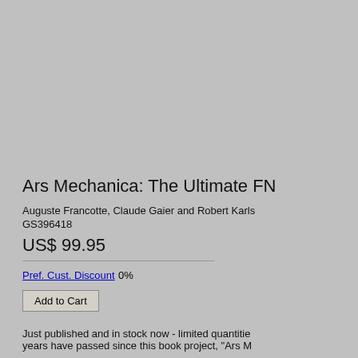Ars Mechanica: The Ultimate FN
Auguste Francotte, Claude Gaier and Robert Karls
GS396418
US$ 99.95
Pref. Cust. Discount 0%
Add to Cart
Just published and in stock now - limited quantitie years have passed since this book project, "Ars M